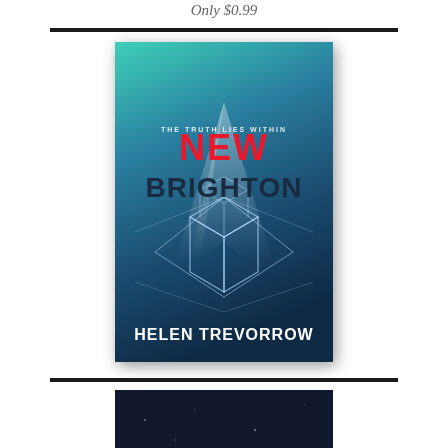Only $0.99
[Figure (illustration): Book cover for 'New Brighton' by Helen Trevorrow. Teal-to-dark-blue gradient background with light rays and geometric cube wireframe shapes. Tagline reads 'THE TRUTH LIES WITHIN'. Title 'NEW' in red bold text, 'BRIGHTON' in dark navy bold text. Author name 'HELEN TREVORROW' in white bold text at bottom.]
[Figure (photo): Partial view of a second book cover with dark/black background, partially cropped at bottom of page.]